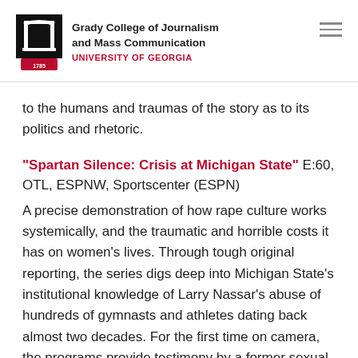Grady College of Journalism and Mass Communication | UNIVERSITY OF GEORGIA
to the humans and traumas of the story as to its politics and rhetoric.
"Spartan Silence: Crisis at Michigan State" E:60, OTL, ESPNW, Sportscenter (ESPN)
A precise demonstration of how rape culture works systemically, and the traumatic and horrible costs it has on women's lives. Through tough original reporting, the series digs deep into Michigan State's institutional knowledge of Larry Nassar's abuse of hundreds of gymnasts and athletes dating back almost two decades. For the first time on camera, the programs provide testimony by a former sexual assault counselor who recounts the rape culture machinery at work—insulated